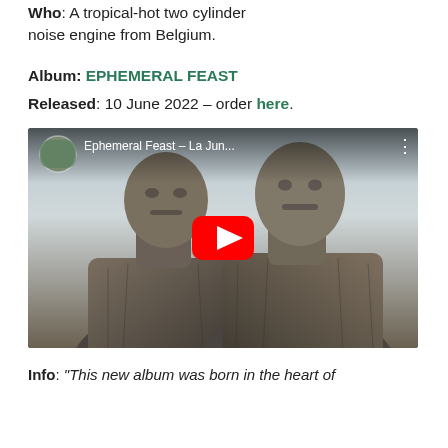Who: A tropical-hot two cylinder noise engine from Belgium.
Album: EPHEMERAL FEAST
Released: 10 June 2022 – order here.
[Figure (screenshot): YouTube video thumbnail showing two stone bust sculptures with YouTube play button overlay. Video title reads 'Ephemeral Feast – La Jun...']
Info: "This new album was born in the heart of